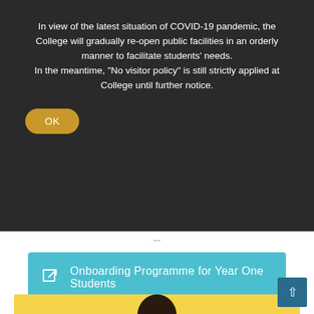In view of the latest situation of COVID-19 pandemic, the College will gradually re-open public facilities in an orderly manner to facilitate students' needs.
In the meantime, "No visitor policy" is still strictly applied at College until further notice.
OK
Onboarding Programme for Year One Students
[Figure (photo): Student holding a purple textbook (Lehninger) in front of their face against a yellow background]